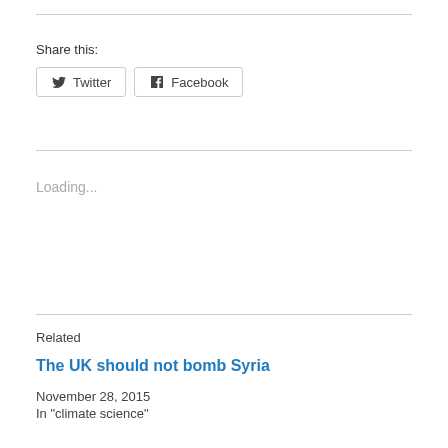Share this:
Twitter   Facebook
Loading...
Related
The UK should not bomb Syria
November 28, 2015
In "climate science"